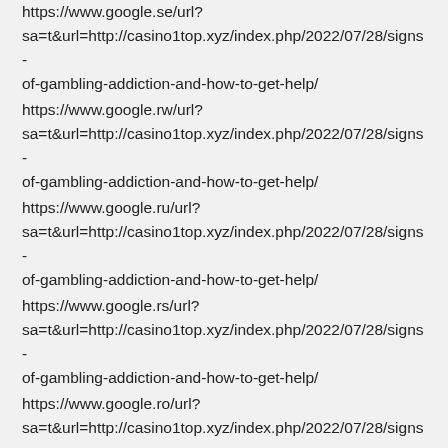https://www.google.se/url?sa=t&url=http://casino1top.xyz/index.php/2022/07/28/signs-of-gambling-addiction-and-how-to-get-help/
https://www.google.rw/url?sa=t&url=http://casino1top.xyz/index.php/2022/07/28/signs-of-gambling-addiction-and-how-to-get-help/
https://www.google.ru/url?sa=t&url=http://casino1top.xyz/index.php/2022/07/28/signs-of-gambling-addiction-and-how-to-get-help/
https://www.google.rs/url?sa=t&url=http://casino1top.xyz/index.php/2022/07/28/signs-of-gambling-addiction-and-how-to-get-help/
https://www.google.ro/url?sa=t&url=http://casino1top.xyz/index.php/2022/07/28/signs-of-gambling-addiction-and-how-to-get-help/
https://www.google.pt/url?